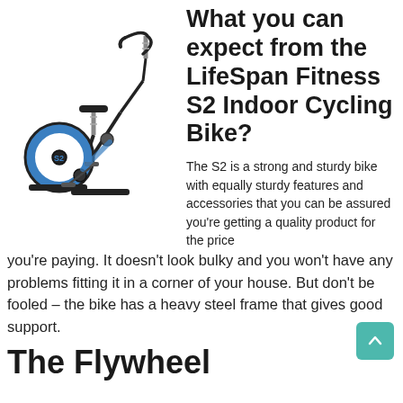[Figure (photo): LifeSpan Fitness S2 Indoor Cycling Bike product photo showing a black and blue stationary exercise bike with curved handlebars, adjustable seat, and weighted flywheel]
What you can expect from the LifeSpan Fitness S2 Indoor Cycling Bike?
The S2 is a strong and sturdy bike with equally sturdy features and accessories that you can be assured you're getting a quality product for the price you're paying. It doesn't look bulky and you won't have any problems fitting it in a corner of your house. But don't be fooled – the bike has a heavy steel frame that gives good support.
The Flywheel